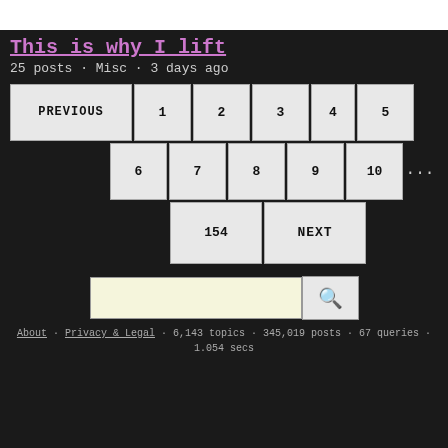This is why I lift
25 posts · Misc · 3 days ago
[Figure (other): Pagination navigation with buttons: PREVIOUS, 1, 2, 3, 4, 5, 6, 7, 8, 9, 10, ..., 154, NEXT]
[Figure (other): Search input box with search icon button]
About · Privacy & Legal · 6,143 topics · 345,019 posts · 67 queries · 1.054 secs